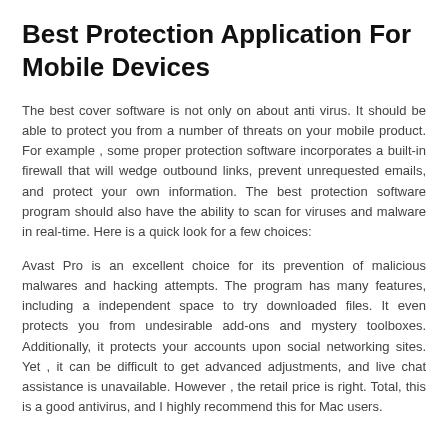Best Protection Application For Mobile Devices
The best cover software is not only on about anti virus. It should be able to protect you from a number of threats on your mobile product. For example , some proper protection software incorporates a built-in firewall that will wedge outbound links, prevent unrequested emails, and protect your own information. The best protection software program should also have the ability to scan for viruses and malware in real-time. Here is a quick look for a few choices:
Avast Pro is an excellent choice for its prevention of malicious malwares and hacking attempts. The program has many features, including a independent space to try downloaded files. It even protects you from undesirable add-ons and mystery toolboxes. Additionally, it protects your accounts upon social networking sites. Yet , it can be difficult to get advanced adjustments, and live chat assistance is unavailable. However , the retail price is right. Total, this is a good antivirus, and I highly recommend this for Mac users.